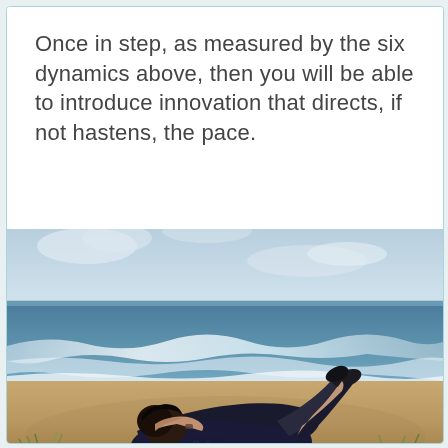Once in step, as measured by the six dynamics above, then you will be able to introduce innovation that directs, if not hastens, the pace.
[Figure (photo): A person lying on their back on a sandy beach, facing away from the camera, with the ocean and waves visible in the background. The person is wearing a dark hoodie with 'Subtle' written on it and has dark hair. Sandy dunes with grass are in the foreground.]